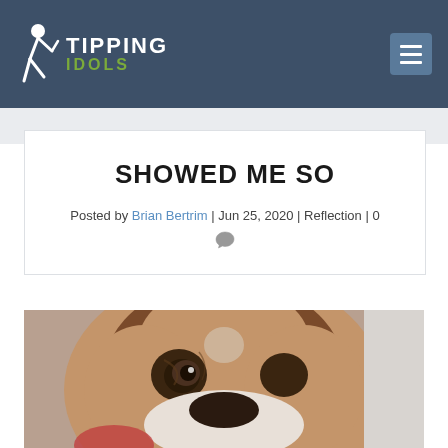TIPPING IDOLS
SHOWED ME SO
Posted by Brian Bertrim | Jun 25, 2020 | Reflection | 0
[Figure (photo): Close-up photo of a boxer dog face, brown and black coloring, looking at the camera]